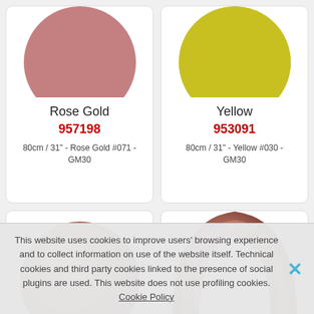[Figure (photo): Rose gold colored balloon circle (cropped, top half visible), rosy pink-brown color]
Rose Gold
957198
80cm / 31" - Rose Gold #071 - GM30
[Figure (photo): Yellow-green colored balloon circle (cropped, top half visible), yellow-chartreuse color]
Yellow
953091
80cm / 31" - Yellow #030 - GM30
[Figure (photo): Round rose gold balloon with Gemar G logo and ROSEGOLD #071 text label, slightly inflated sphere]
[Figure (photo): Arch/link rose gold balloon with Gemar G logo and ROSEGOLD #071 text label, metallic pink color]
This website uses cookies to improve users' browsing experience and to collect information on use of the website itself. Technical cookies and third party cookies linked to the presence of social plugins are used. This website does not use profiling cookies. Cookie Policy